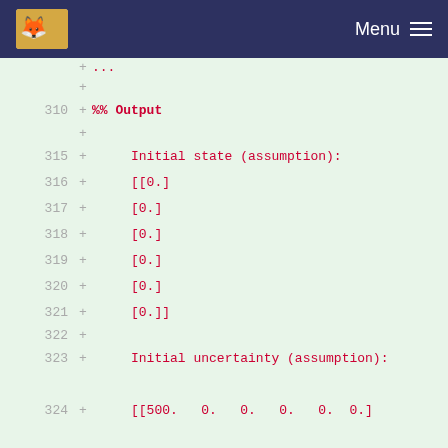Menu
Code diff showing lines 310-328 with Initial state and Initial uncertainty output sections